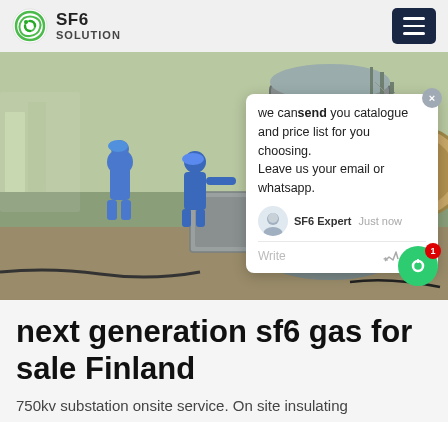SF6 SOLUTION
[Figure (photo): Workers in blue coveralls and hard hats working on large industrial SF6 gas equipment at a substation. A chat popup overlay is visible on the right side of the image with text: 'we can send you catalogue and price list for you choosing. Leave us your email or whatsapp.' SF6 Expert · Just now. Write.]
next generation sf6 gas for sale Finland
750kv substation onsite service. On site insulating